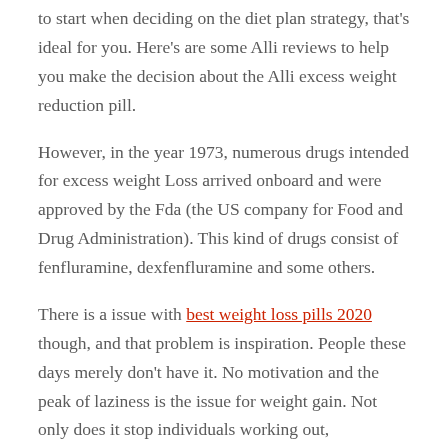to start when deciding on the diet plan strategy, that's ideal for you. Here's are some Alli reviews to help you make the decision about the Alli excess weight reduction pill.
However, in the year 1973, numerous drugs intended for excess weight Loss arrived onboard and were approved by the Fda (the US company for Food and Drug Administration). This kind of drugs consist of fenfluramine, dexfenfluramine and some others.
There is a issue with best weight loss pills 2020 though, and that problem is inspiration. People these days merely don't have it. No motivation and the peak of laziness is the issue for weight gain. Not only does it stop individuals working out, individuals aren't even cooking any longer: